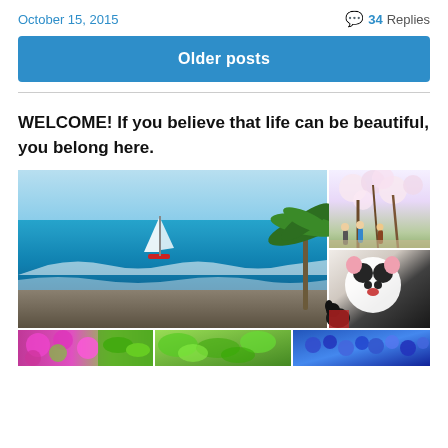October 15, 2015   💬 34 Replies
Older posts
WELCOME! If you believe that life can be beautiful, you belong here.
[Figure (photo): Collage of lifestyle photos: a tropical beach with sailboat and rocky coast, cherry blossom trees with people walking, a panda costume with a black dog, colorful flowers, green plants, and blue berries.]